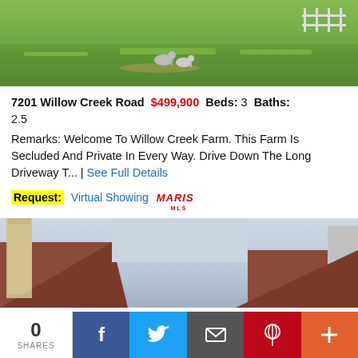[Figure (photo): Outdoor lawn/yard photo with geese on green grass, wide-angle view]
7201 Willow Creek Road  $499,900  Beds: 3  Baths: 2.5
Remarks: Welcome To Willow Creek Farm. This Farm Is Secluded And Private In Every Way. Drive Down The Long Driveway T... | See Full Details
Request: Virtual Showing MARIS MLS
[Figure (photo): Exterior photo of a brick building with rooftop visible against a light sky]
0 SHARES